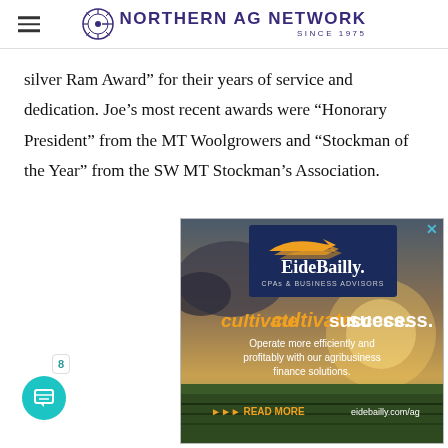NORTHERN AG NETWORK SINCE 1975
silver Ram Award” for their years of service and dedication. Joe’s most recent awards were “Honorary President” from the MT Woolgrowers and “Stockman of the Year” from the SW MT Stockman’s Association.
[Figure (infographic): EideBailly CPAs & Business Advisors advertisement with sunset agricultural background. Text reads: cultivate success. Operate more efficiently and profitably with our agribusiness finance solutions. READ MORE eidebailly.com/ag]